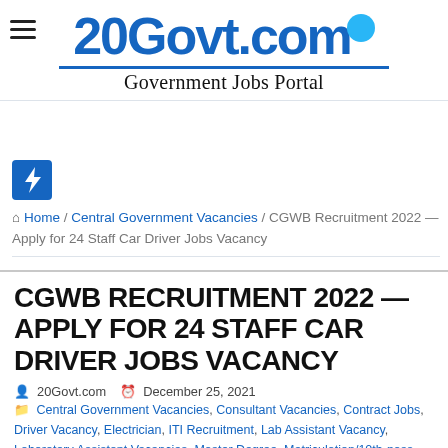20Govt.com — Government Jobs Portal
[Figure (logo): 20Govt.com logo with blue text, a blue circle top right, and tagline 'Government Jobs Portal']
[Figure (infographic): Blue square icon with white lightning bolt]
Home / Central Government Vacancies / CGWB Recruitment 2022 — Apply for 24 Staff Car Driver Jobs Vacancy
CGWB RECRUITMENT 2022 — APPLY FOR 24 STAFF CAR DRIVER JOBS VACANCY
20Govt.com   December 25, 2021
Central Government Vacancies, Consultant Vacancies, Contract Jobs, Driver Vacancy, Electrician, ITI Recruitment, Lab Assistant Vacancy, Laboratory Assistant Vacancies, Master Degree, Matriculation/10th-pass, ME/M.Tech, Msc Biotechnology, MSC in Chemistry, Msc Microbiology,